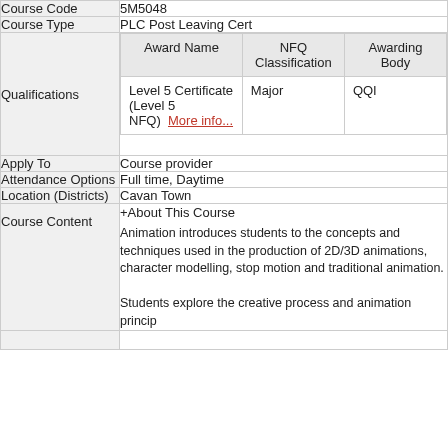| Field | Value |
| --- | --- |
| Course Code | 5M5048 |
| Course Type | PLC Post Leaving Cert |
| Qualifications | Award Name | NFQ Classification | Awarding Body
Level 5 Certificate (Level 5 NFQ) More info... | Major | QQI |
| Apply To | Course provider |
| Attendance Options | Full time, Daytime |
| Location (Districts) | Cavan Town |
| Course Content | +About This Course
Animation introduces students to the concepts and techniques used in the production of 2D/3D animations, character modelling, stop motion and traditional animation.

Students explore the creative process and animation princip |